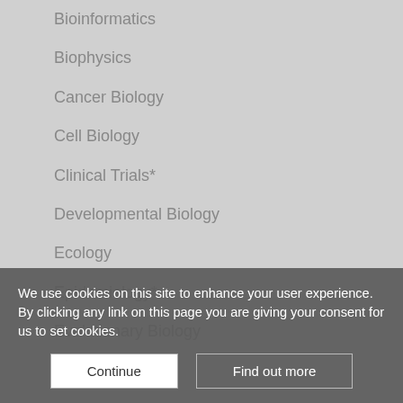Bioinformatics
Biophysics
Cancer Biology
Cell Biology
Clinical Trials*
Developmental Biology
Ecology
Epidemiology*
Evolutionary Biology
Genetics
Genomics
Immunology
Microbiology
We use cookies on this site to enhance your user experience. By clicking any link on this page you are giving your consent for us to set cookies.
Continue | Find out more